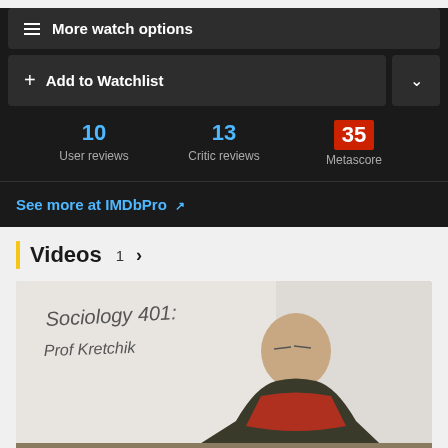More watch options
Add to Watchlist
10 User reviews   13 Critic reviews   35 Metascore
See more at IMDbPro ↗
Videos 1 >
[Figure (photo): Video thumbnail showing a man in a dark jacket and red sweater standing in front of a whiteboard that reads 'Sociology 401: Prof Kretchik']